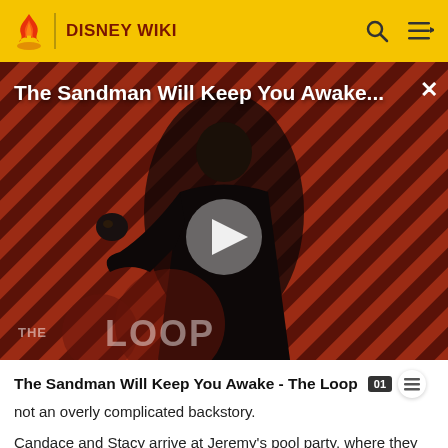DISNEY WIKI
[Figure (screenshot): Video thumbnail showing a dark-cloaked figure against a diagonal red and black striped background with 'THE LOOP' watermark and play button overlay. Title overlay reads 'The Sandman Will Keep You Awake...']
The Sandman Will Keep You Awake - The Loop
not an overly complicated backstory.
Candace and Stacy arrive at Jeremy's pool party, where they see him talking to a blonde girl with an Australian